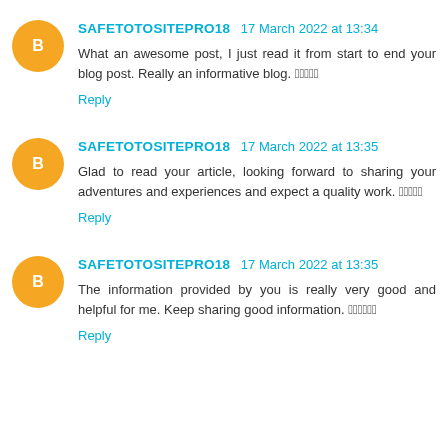SAFETOTOSITEPRO18 17 March 2022 at 13:34
What an awesome post, I just read it from start to end your blog post. Really an informative blog. 🏻🏻🏻🏻🏻
Reply
SAFETOTOSITEPRO18 17 March 2022 at 13:35
Glad to read your article, looking forward to sharing your adventures and experiences and expect a quality work. 🏻🏻🏻🏻🏻
Reply
SAFETOTOSITEPRO18 17 March 2022 at 13:35
The information provided by you is really very good and helpful for me. Keep sharing good information. 🏻🏻🏻🏻🏻🏻
Reply